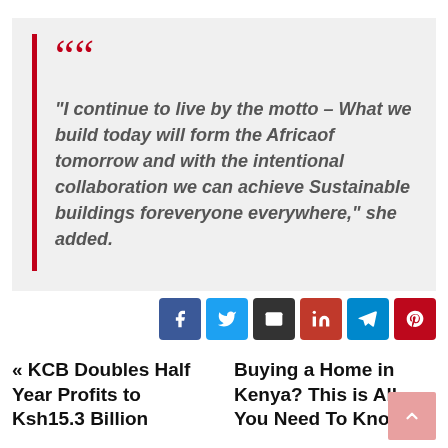“I continue to live by the motto – What we build today will form the Africaof tomorrow and with the intentional collaboration we can achieve Sustainable buildings foreveryone everywhere,” she added.
[Figure (other): Social sharing icon buttons: Facebook, Twitter, Email, LinkedIn, Telegram, Pinterest]
« KCB Doubles Half Year Profits to Ksh15.3 Billion
Buying a Home in Kenya? This is All You Need To Know »